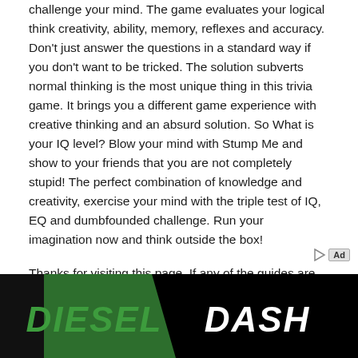challenge your mind. The game evaluates your logical think creativity, ability, memory, reflexes and accuracy. Don't just answer the questions in a standard way if you don't want to be tricked. The solution subverts normal thinking is the most unique thing in this trivia game. It brings you a different game experience with creative thinking and an absurd solution. So What is your IQ level? Blow your mind with Stump Me and show to your friends that you are not completely stupid! The perfect combination of knowledge and creativity, exercise your mind with the triple test of IQ, EQ and dumbfounded challenge. Run your imagination now and think outside the box!
Thanks for visiting this page, If any of the guides are wrong, then please let us know in the comment. We will correct them as soon as we can.
[Figure (other): Advertisement banner for DIESEL DASH with green and black design]